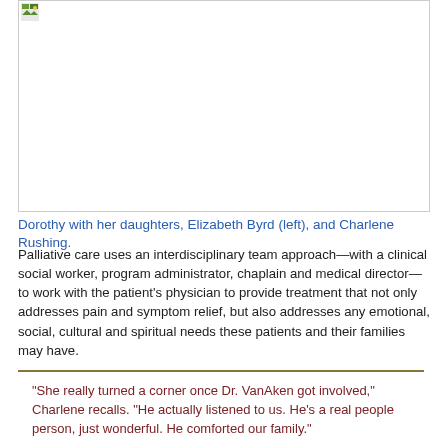[Figure (photo): Photo of Dorothy with her daughters, Elizabeth Byrd (left), and Charlene Rushing.]
Dorothy with her daughters, Elizabeth Byrd (left), and Charlene Rushing.
Palliative care uses an interdisciplinary team approach—with a clinical social worker, program administrator, chaplain and medical director—to work with the patient's physician to provide treatment that not only addresses pain and symptom relief, but also addresses any emotional, social, cultural and spiritual needs these patients and their families may have.
“She really turned a corner once Dr. VanAken got involved,” Charlene recalls. “He actually listened to us. He’s a real people person, just wonderful. He comforted our family.”